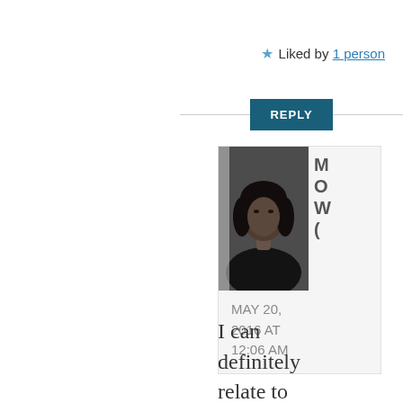★ Liked by 1 person
REPLY
[Figure (photo): Profile photo of a person with dark hair, shown in a gray-toned portrait.]
MAY 20, 2016 AT 12:06 AM
I can definitely relate to